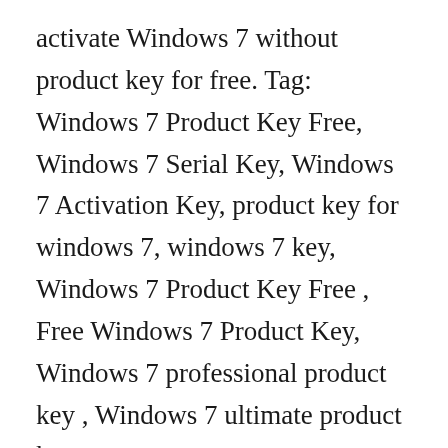activate Windows 7 without product key for free. Tag: Windows 7 Product Key Free, Windows 7 Serial Key, Windows 7 Activation Key, product key for windows 7, windows 7 key, Windows 7 Product Key Free , Free Windows 7 Product Key, Windows 7 professional product key , Windows 7 ultimate product key.
View all posts by admin. You must be logged in to post a comment. by admin Posted on November 30, December 1. Published by